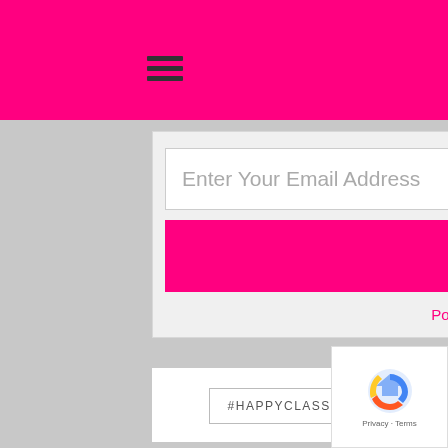Enter Your Email Address
Subscribe
Powered by ConvertKit
#HAPPYCLASSROOMS
ABC BOOTCAMP
CLASSROOM MANAGEMENT
9 comments
0